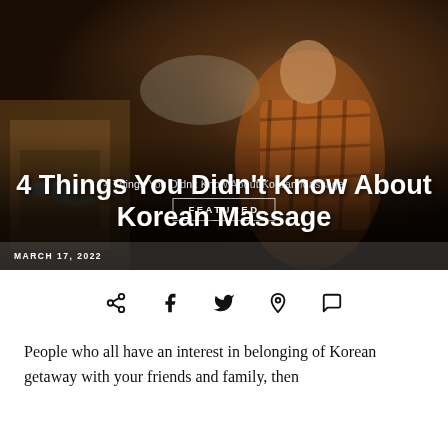[Figure (photo): Woman in orange plaid blazer sitting among cardboard boxes in a warehouse or storage area, used as hero image for article about Korean massage]
4 Things You Didn't Know About Korean Massage
4 Things You Didn't Know About Korean Massage
MARCH 17, 2022
[Figure (infographic): Social share icons row: share, facebook, twitter, pinterest, whatsapp]
People who all have an interest in belonging of Korean getaway with your friends and family, then